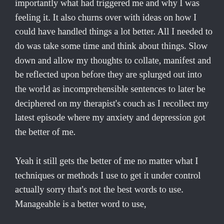importantly what had triggered me and why I was feeling it. It also churns over with ideas on how I could have handled things a lot better. All I needed to do was take some time and think about things. Slow down and allow my thoughts to collate, manifest and be reflected upon before they are splurged out into the world as incomprehensible sentences to later be deciphered on my therapist's couch as I recollect my latest episode where my anxiety and depression got the better of me.
Yeah it still gets the better of me no matter what I techniques or methods I use to get it under control actually sorry that's not the best words to use. Manageable is a better word to use,